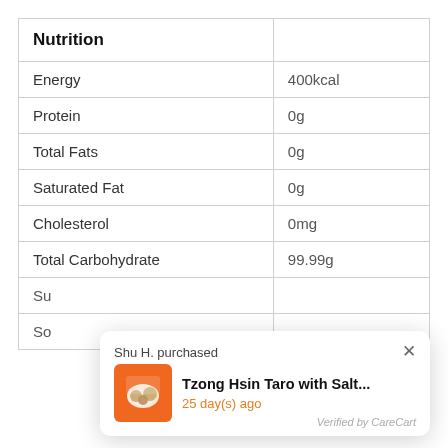| Nutrition |  |
| --- | --- |
| Energy | 400kcal |
| Protein | 0g |
| Total Fats | 0g |
| Saturated Fat | 0g |
| Cholesterol | 0mg |
| Total Carbohydrate | 99.99g |
| Su |  |
| So |  |
[Figure (screenshot): Popup notification: Shu H. purchased Tzong Hsin Taro with Salt... 25 day(s) ago. Verified by CareCart. Shows product image thumbnail.]